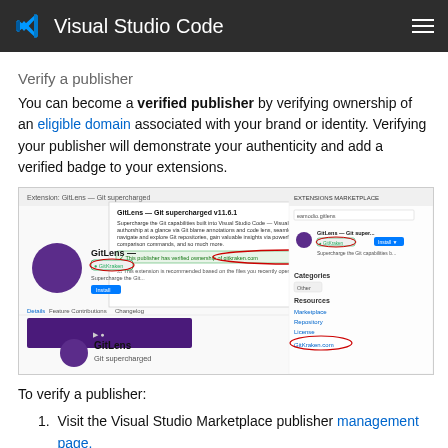Visual Studio Code
Verify a publisher
You can become a verified publisher by verifying ownership of an eligible domain associated with your brand or identity. Verifying your publisher will demonstrate your authenticity and add a verified badge to your extensions.
[Figure (screenshot): Screenshot of Visual Studio Code Marketplace showing GitLens extension with verified publisher badge and domain verification highlighted with red circles.]
To verify a publisher:
Visit the Visual Studio Marketplace publisher management page.
Select your publisher and click to verify if...